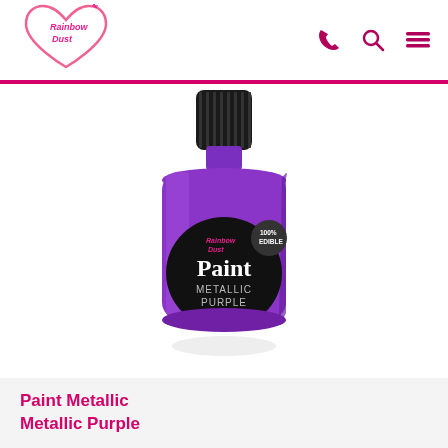[Figure (logo): Rainbow Dust brand logo — cursive pink text inside a heart shape with sparkle]
[Figure (photo): Small purple metallic paint bottle by Rainbow Dust with black ribbed cap, purple label reading 'Paint METALLIC PURPLE' with '100% EDIBLE' badge]
Paint Metallic Metallic Purple